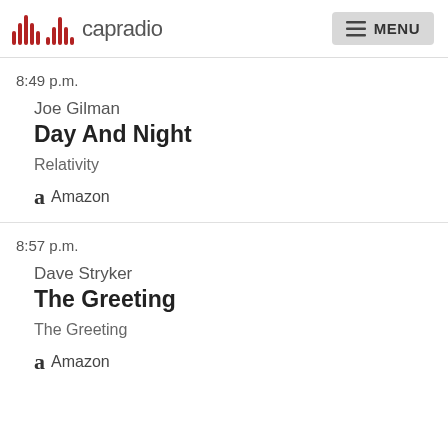capradio | MENU
8:49 p.m.
Joe Gilman
Day And Night
Relativity
Amazon
8:57 p.m.
Dave Stryker
The Greeting
The Greeting
Amazon